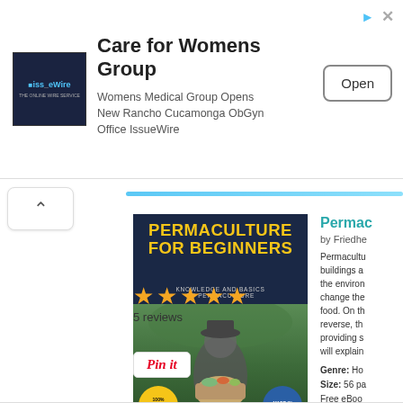[Figure (screenshot): Advertisement banner for 'Care for Womens Group' with IssueWire logo, text about Womens Medical Group opening new Rancho Cucamonga ObGyn Office, and an Open button]
[Figure (illustration): Book cover: Permaculture for Beginners by Friedhelm Weiss, dark blue cover with yellow title text, person holding harvest basket, badges reading '100% Expert Knowledge' and 'Made in Germany']
Permac...
by Friedhe...
Permaculture buildings a the environment change the food. On the reverse, th providing s will explain
Genre: Ho Size: 56 pa Free eBoo
5 reviews
[Figure (other): Pin it button with Pinterest styling]